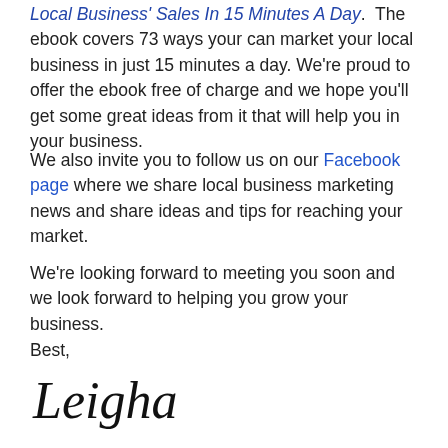Local Business' Sales In 15 Minutes A Day. The ebook covers 73 ways your can market your local business in just 15 minutes a day. We're proud to offer the ebook free of charge and we hope you'll get some great ideas from it that will help you in your business.
We also invite you to follow us on our Facebook page where we share local business marketing news and share ideas and tips for reaching your market.
We're looking forward to meeting you soon and we look forward to helping you grow your business.
Best,
[Figure (illustration): Handwritten cursive signature reading 'Leigha']